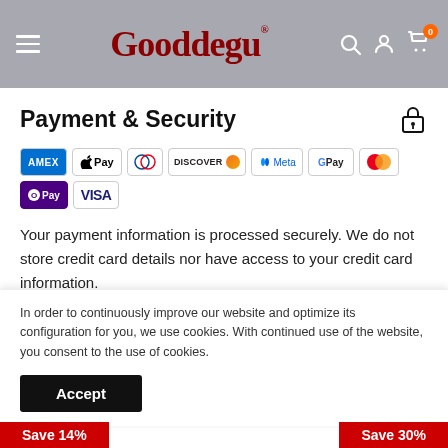[Figure (screenshot): Gooddegu e-commerce website header with hamburger menu, logo, search, account, and cart icons on grey background]
Payment & Security
[Figure (infographic): Payment method icons: AMEX, Apple Pay, Diners Club, Discover, Meta Pay, Google Pay, Mastercard, OPay, VISA]
Your payment information is processed securely. We do not store credit card details nor have access to your credit card information.
[Figure (logo): Shopify Secure badge with green shopping bag icon and italic shopify SECURE text]
In order to continuously improve our website and optimize its configuration for you, we use cookies. With continued use of the website, you consent to the use of cookies.
Accept
Save 14%
Save 30%